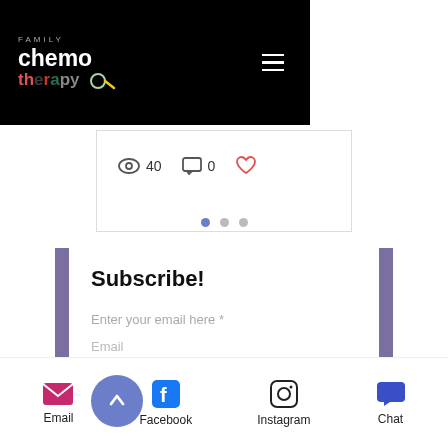[Figure (screenshot): Family Chemo Therapy website header with black background, logo, and hamburger menu icon]
40   0
[Figure (other): Three pagination dots, first one active (blue), two inactive (gray)]
Subscribe!
Enter your email here *
Email
[Figure (other): Sign Up button with blue circle arrow and light blue rectangle]
Email   Facebook   Instagram   Chat